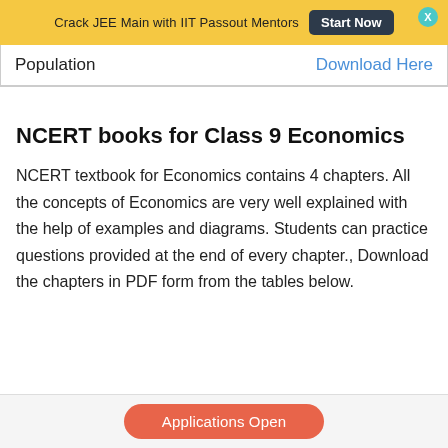Crack JEE Main with IIT Passout Mentors  Start Now
| Population | Download Here |
| --- | --- |
NCERT books for Class 9 Economics
NCERT textbook for Economics contains 4 chapters. All the concepts of Economics are very well explained with the help of examples and diagrams. Students can practice questions provided at the end of every chapter., Download the chapters in PDF form from the tables below.
Applications Open